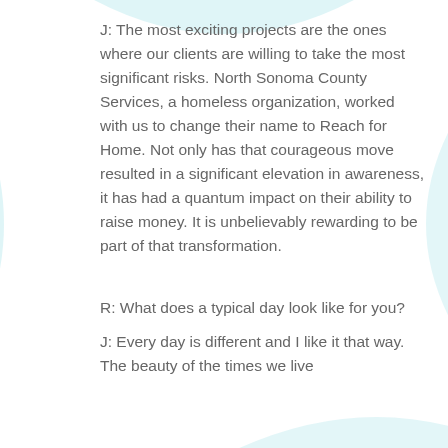J: The most exciting projects are the ones where our clients are willing to take the most significant risks. North Sonoma County Services, a homeless organization, worked with us to change their name to Reach for Home. Not only has that courageous move resulted in a significant elevation in awareness, it has had a quantum impact on their ability to raise money. It is unbelievably rewarding to be part of that transformation.
R: What does a typical day look like for you?
J: Every day is different and I like it that way. The beauty of the times we live